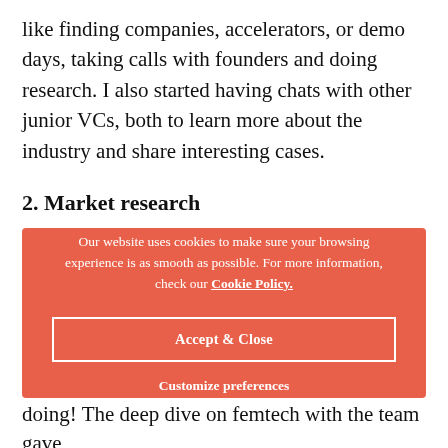like finding companies, accelerators, or demo days, taking calls with founders and doing research. I also started having chats with other junior VCs, both to learn more about the industry and share interesting cases.
2. Market research
[Figure (other): Cookie consent overlay on a salmon/coral colored background with text: 'Our website uses cookies to make sure your browsing experience is as smooth as possible. For more information, check our Cookie Policy.' with an 'Accept & Close' button and 'Customize preferences' link.]
doing! The deep dive on femtech with the team gave